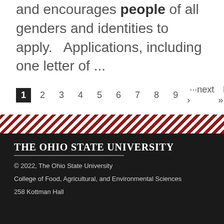Staff leadership series call for applications and encourages people of all genders and identities to apply.   Applications, including one letter of ...
1 2 3 4 5 6 7 8 9 ···next › last »
[Figure (other): Diagonal red and white stripe decorative banner]
The Ohio State University
© 2022, The Ohio State University
College of Food, Agricultural, and Environmental Sciences
258 Kottman Hall